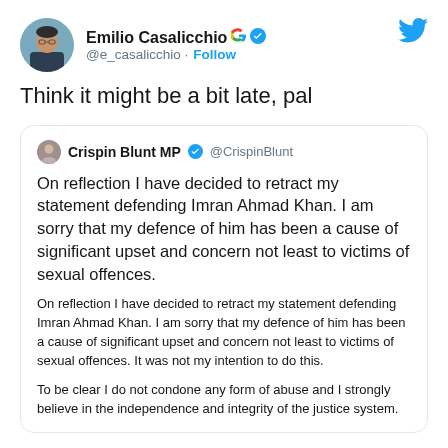Emilio Casalicchio @e_casalicchio · Follow
Think it might be a bit late, pal
Crispin Blunt MP @CrispinBlunt On reflection I have decided to retract my statement defending Imran Ahmad Khan. I am sorry that my defence of him has been a cause of significant upset and concern not least to victims of sexual offences.
On reflection I have decided to retract my statement defending Imran Ahmad Khan. I am sorry that my defence of him has been a cause of significant upset and concern not least to victims of sexual offences. It was not my intention to do this.
To be clear I do not condone any form of abuse and I strongly believe in the independence and integrity of the justice system.